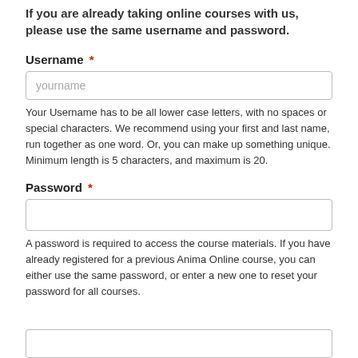If you are already taking online courses with us, please use the same username and password.
Username *
[Figure (screenshot): Text input field with placeholder text 'yourname']
Your Username has to be all lower case letters, with no spaces or special characters. We recommend using your first and last name, run together as one word. Or, you can make up something unique. Minimum length is 5 characters, and maximum is 20.
Password *
[Figure (screenshot): Empty password input field]
A password is required to access the course materials. If you have already registered for a previous Anima Online course, you can either use the same password, or enter a new one to reset your password for all courses.
[Figure (screenshot): Empty input field at bottom of page]